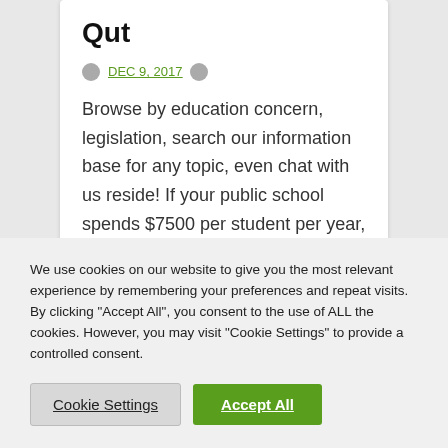Qut
DEC 9, 2017
Browse by education concern, legislation, search our information base for any topic, even chat with us reside! If your public school spends $7500 per student per year, and you want…
We use cookies on our website to give you the most relevant experience by remembering your preferences and repeat visits. By clicking "Accept All", you consent to the use of ALL the cookies. However, you may visit "Cookie Settings" to provide a controlled consent.